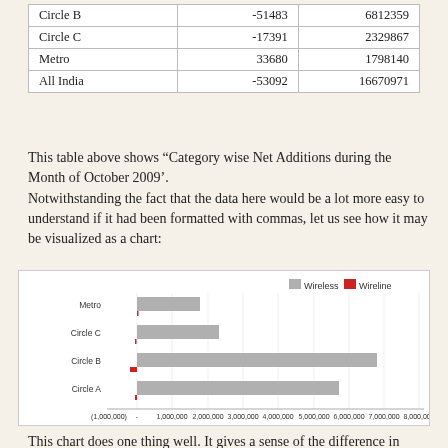| Circle B | -51483 | 6812359 |
| Circle C | -17391 | 2329867 |
| Metro | 33680 | 1798140 |
| All India | -53092 | 16670971 |
This table above shows "Category wise Net Additions during the Month of October 2009'. Notwithstanding the fact that the data here would be a lot more easy to understand if it had been formatted with commas, let us see how it may be visualized as a chart:
[Figure (bar-chart): ]
This chart does one thing well. It gives a sense of the difference in